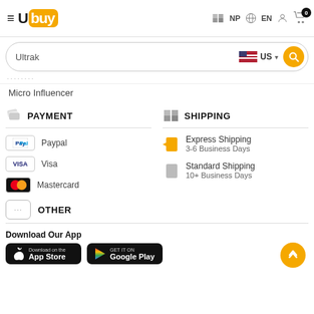Ubuy NP EN [cart: 0]
Ultrak US [search]
Micro Influencer
PAYMENT
Paypal
Visa
Mastercard
SHIPPING
Express Shipping
3-6 Business Days
Standard Shipping
10+ Business Days
OTHER
Download Our App
[Figure (logo): App Store download button]
[Figure (logo): Google Play download button]